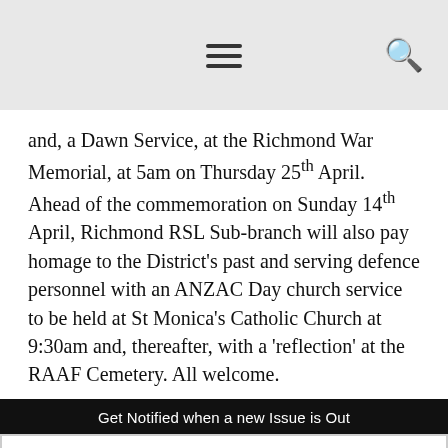[Navigation bar with hamburger menu and search icon]
and, a Dawn Service, at the Richmond War Memorial, at 5am on Thursday 25th April. Ahead of the commemoration on Sunday 14th April, Richmond RSL Sub-branch will also pay homage to the District's past and serving defence personnel with an ANZAC Day church service to be held at St Monica's Catholic Church at 9:30am and, thereafter, with a 'reflection' at the RAAF Cemetery. All welcome.
Get Notified when a new Issue is Out
Your email address..
SUBSCRIBE